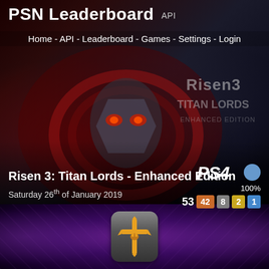PSN Leaderboard API
Home - API - Leaderboard - Games - Settings - Login
[Figure (screenshot): Background game art for Risen 3: Titan Lords - Enhanced Edition showing dark fantasy imagery with red serpent/dragon eye motif and 'Titan Lords Enhanced Edition' text]
Risen 3: Titan Lords - Enhanced Edition
Saturday 26th of January 2019
[Figure (screenshot): PS4 platform logo with blue platinum trophy circle icon and 100% completion. Trophy counts: 53 total, 42 bronze, 8 silver, 2 gold, 1 platinum]
[Figure (screenshot): Partially visible second game card with purple/violet background showing a stylized game icon with ornate cross/sword symbol in gold on a rounded rectangle]